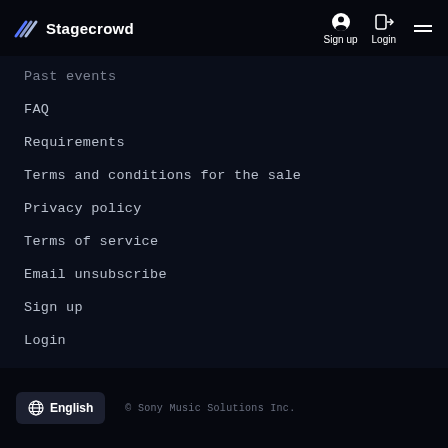Stagecrowd — Sign up | Login
Past events
FAQ
Requirements
Terms and conditions for the sale
Privacy policy
Terms of service
Email unsubscribe
Sign up
Login
Customize Settings
English  © Sony Music Solutions Inc.